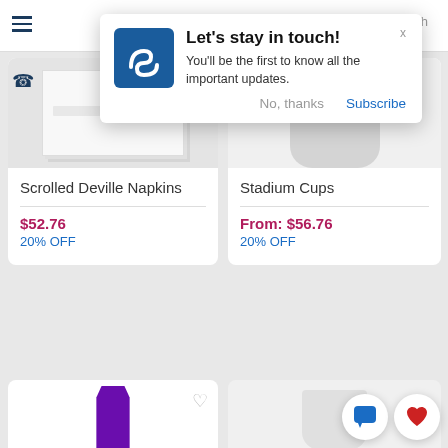[Figure (screenshot): Mobile e-commerce website screenshot showing a notification popup overlay saying 'Let's stay in touch!' with a blue logo icon, subtitle text, and No thanks/Subscribe buttons, over a product listing grid showing Scrolled Deville Napkins at $52.76 (20% OFF) and Stadium Cups From: $56.76 (20% OFF), with partially visible product cards at the bottom.]
Let's stay in touch!
You'll be the first to know all the important updates.
No, thanks
Subscribe
Scrolled Deville Napkins
$52.76
20% OFF
Stadium Cups
From: $56.76
20% OFF